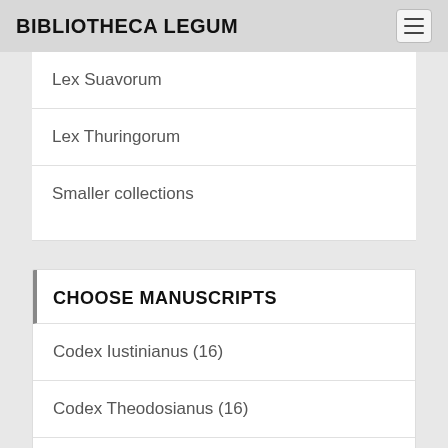BIBLIOTHECA LEGUM
Lex Suavorum
Lex Thuringorum
Smaller collections
CHOOSE MANUSCRIPTS
Codex Iustinianus (16)
Codex Theodosianus (16)
Constitutiones Sirmondianae (10)
Edictum Theoderici (7)